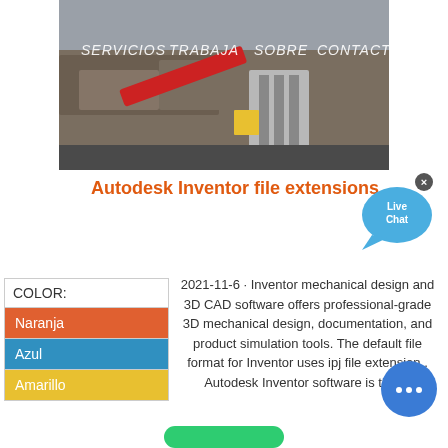[Figure (screenshot): Website screenshot showing a construction/mining machinery image with a navigation bar overlay reading SERVICIOS TRABAJA SOBRE CONTACTO in white text]
Autodesk Inventor file extensions
[Figure (illustration): Live Chat bubble icon in blue with an X close button]
| COLOR: |
| --- |
| Naranja |
| Azul |
| Amarillo |
2021-11-6 · Inventor mechanical design and 3D CAD software offers professional-grade 3D mechanical design, documentation, and product simulation tools. The default file format for Inventor uses ipj file extension.. Autodesk Inventor software is the ...
[Figure (illustration): Blue circular chat button with three dots (ellipsis) icon at bottom right]